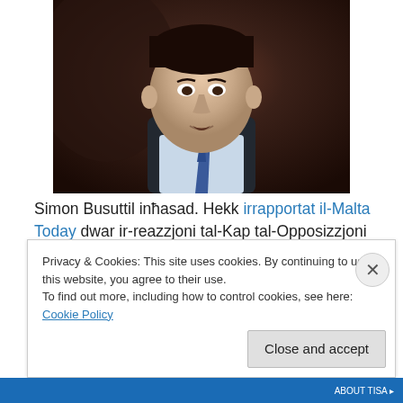[Figure (photo): Photo of a man in a dark suit and blue tie speaking, shown from shoulders up, dark blurred background]
Simon Busuttil inħasad. Hekk irrapportat il-Malta Today dwar ir-reazzjoni tal-Kap tal-Opposizzjoni għad-deċiżjoni tal-Gvern li mhux ser jinkoraġixxi l-espansjoni tal-Port Ħieles.
Simon Busuttil għadu mhux qed jirrealizza illi l-impatti li qed joriġinaw mit-Terminal tal-Port Ħieles qed jifnu lir-
Privacy & Cookies: This site uses cookies. By continuing to use this website, you agree to their use.
To find out more, including how to control cookies, see here: Cookie Policy
Close and accept